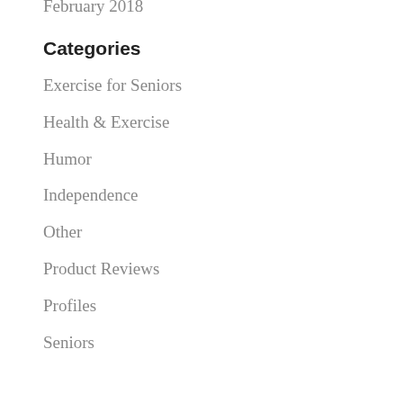March 2018
February 2018
Categories
Exercise for Seniors
Health & Exercise
Humor
Independence
Other
Product Reviews
Profiles
Seniors